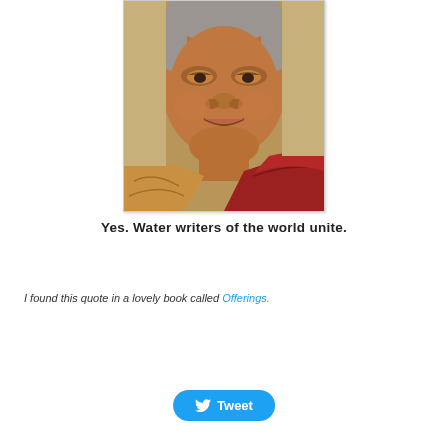[Figure (photo): Close-up portrait of an elderly Asian woman with grey hair, smiling warmly, wearing a golden-brown and deep red robe or shawl. The photo is set against a beige/tan background.]
Yes.  Water writers of the world unite.
I found this quote in a lovely book called Offerings.
[Figure (other): Tweet button with Twitter bird icon and 'Tweet' text in white on a blue rounded rectangle background.]